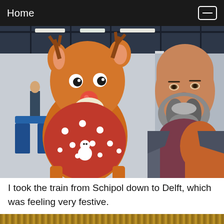Home
[Figure (photo): A bald bearded man sitting at an airport gate (gate A4 sign visible) next to a large stuffed Rudolph the Red-Nosed Reindeer toy dressed in a red polka-dot Christmas sweater. The man wears a grey jacket and a burgundy/orange scarf.]
I took the train from Schipol down to Delft, which was feeling very festive.